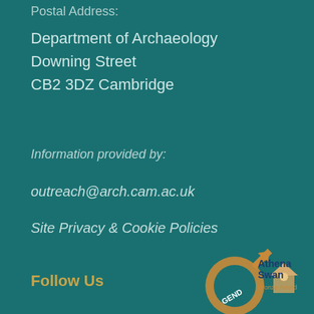Postal Address:
Department of Archaeology
Downing Street
CB2 3DZ Cambridge
Information provided by:
outreach@arch.cam.ac.uk
Site Privacy & Cookie Policies
Follow Us
[Figure (logo): Athena Swan Bronze Award logo with circular gender symbol in bronze/gold and text 'Athena Swan Bronze Award']